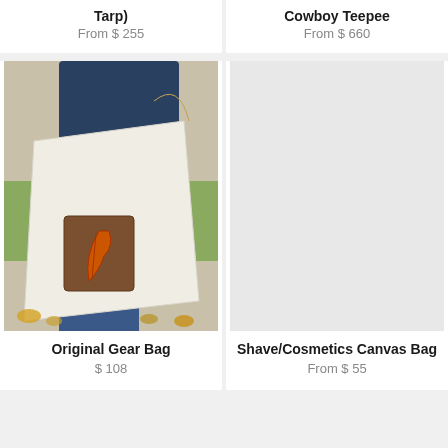Tarp)
From $ 255
Cowboy Teepee
From $ 660
[Figure (photo): Person holding a large white canvas gear bag with a brown leather feather patch, wearing jeans and a dark shirt, standing outdoors with autumn leaves on the ground]
Original Gear Bag
$ 108
[Figure (photo): Light gray/white background photo placeholder for Shave/Cosmetics Canvas Bag product]
Shave/Cosmetics Canvas Bag
From $ 55